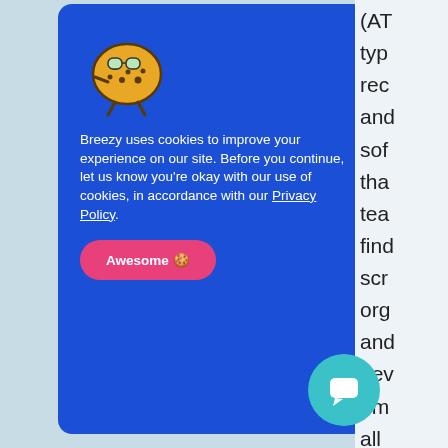[Figure (screenshot): Screenshot of a cookie consent modal overlay on a website. The modal has a blue background, a cartoon cookie character with glasses at the top, white text explaining cookie usage policy, a pink 'Awesome 🍪' button, and partially visible background text on the right side. A teal chat bubble icon is visible in the bottom right.]